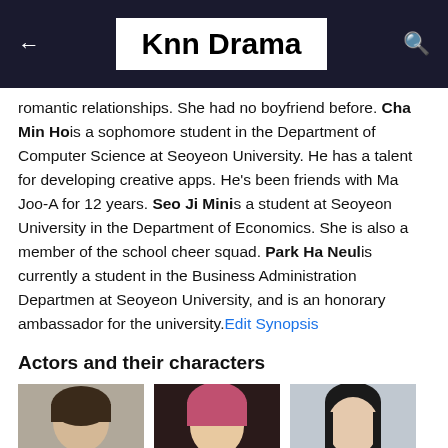Knn Drama
romantic relationships. She had no boyfriend before. Cha Min Ho is a sophomore student in the Department of Computer Science at Seoyeon University. He has a talent for developing creative apps. He's been friends with Ma Joo-A for 12 years. Seo Ji Min is a student at Seoyeon University in the Department of Economics. She is also a member of the school cheer squad. Park Ha Neul is currently a student in the Business Administration Departmen at Seoyeon University, and is an honorary ambassador for the university. Edit Synopsis
Actors and their characters
[Figure (photo): Three actor headshot photos in a row below the section header]
[Figure (photo): Second actor headshot - person with pink/red hair]
[Figure (photo): Third actor headshot - person with long black hair]